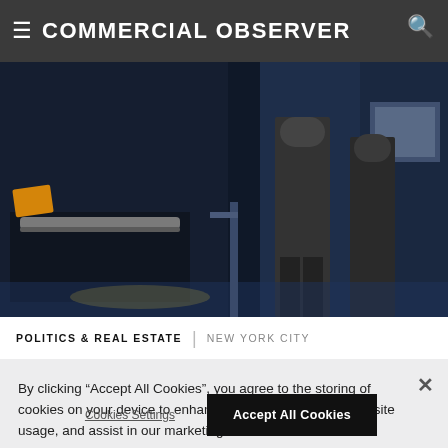COMMERCIAL OBSERVER
[Figure (photo): Photo of what appears to be a subway station interior with dark blue partitions, a bench with yellow item, and people standing near turnstiles or booths in the background.]
POLITICS & REAL ESTATE | NEW YORK CITY
You have 2 free articles remaining. Become a Basic Member for unlimited access to recent articles with the free...
By clicking "Accept All Cookies", you agree to the storing of cookies on your device to enhance site navigation, analyze site usage, and assist in our marketing efforts.
Cookies Settings
Accept All Cookies